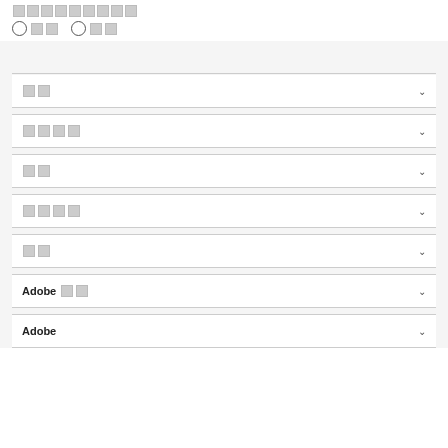■■■■■■■■■
○ ■■  ○ ■■
■■
■■■■
■■
■■■■
■■
Adobe ■■
Adobe